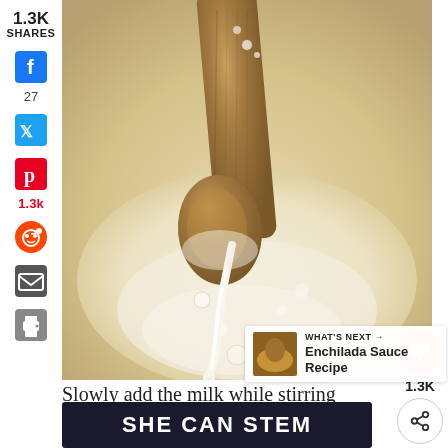[Figure (photo): Close-up photo of a wooden spoon dripping white creamy sauce/milk into a bowl, being stirred]
1.3K
SHARES
f
27
Twitter icon
Pinterest icon
1.3K
Reddit icon
Email icon
Print icon
[Figure (other): Heart/like button (red circle with heart icon) and share button (circle with share icon), count 1.3K]
WHAT'S NEXT → Enchilada Sauce Recipe
Slowly add the milk while stirring
[Figure (other): SHE CAN STEM dark banner advertisement]